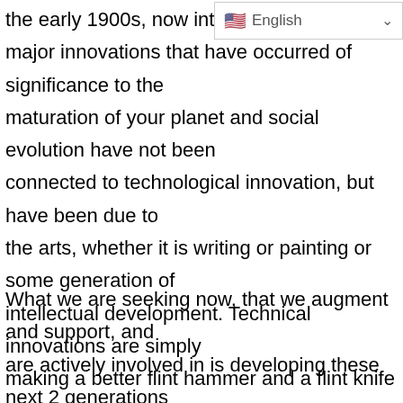[Figure (screenshot): Language selector widget showing US flag and 'English' label with dropdown chevron]
the early 1900s, now into the curre major innovations that have occurred of significance to the maturation of your planet and social evolution have not been connected to technological innovation, but have been due to the arts, whether it is writing or painting or some generation of intellectual development. Technical innovations are simply making a better flint hammer and a flint knife to do your work around the world.
What we are seeking now, that we augment and support, and are actively involved in is developing these next 2 generations of children. This began over 30 years ago and continues. We are guiding the unions of young people, males and females, to join together to have this new generation of children. This has